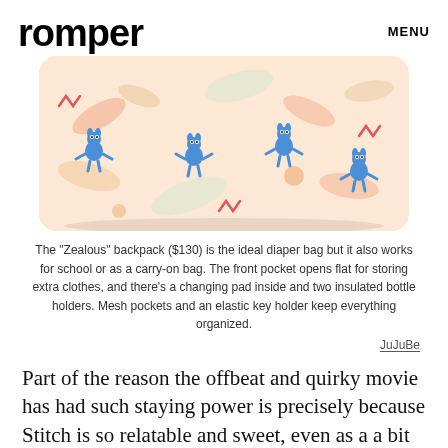romper  MENU
[Figure (photo): A Lilo & Stitch themed 'Zealous' backpack/diaper bag by JuJuBe, shown from the front. The bag features a white background with colorful tropical leaf patterns in peach, orange, and teal, and multiple Stitch character illustrations across the surface. The bag appears structured and rectangular.]
The "Zealous" backpack ($130) is the ideal diaper bag but it also works for school or as a carry-on bag. The front pocket opens flat for storing extra clothes, and there's a changing pad inside and two insulated bottle holders. Mesh pockets and an elastic key holder keep everything organized.
JuJuBe
Part of the reason the offbeat and quirky movie has had such staying power is precisely because Stitch is so relatable and sweet, even as a a bit of a misfit. He's sometimes misunderstood (after all he's a powerful